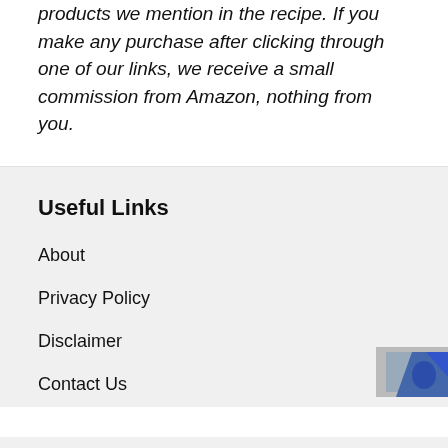products we mention in the recipe. If you make any purchase after clicking through one of our links, we receive a small commission from Amazon, nothing from you.
Useful Links
About
Privacy Policy
Disclaimer
Contact Us
[Figure (logo): Partial badge/logo in bottom-right corner, blue and gray.]